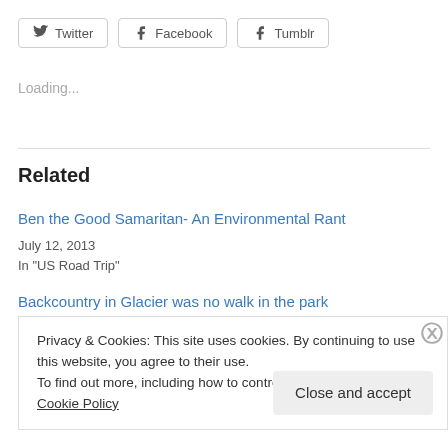Twitter  Facebook  Tumblr
Loading...
Related
Ben the Good Samaritan- An Environmental Rant
July 12, 2013
In "US Road Trip"
Backcountry in Glacier was no walk in the park
Privacy & Cookies: This site uses cookies. By continuing to use this website, you agree to their use.
To find out more, including how to control cookies, see here: Cookie Policy
Close and accept